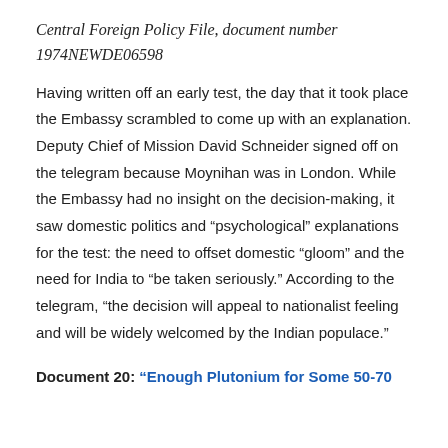Central Foreign Policy File, document number 1974NEWDE06598
Having written off an early test, the day that it took place the Embassy scrambled to come up with an explanation. Deputy Chief of Mission David Schneider signed off on the telegram because Moynihan was in London. While the Embassy had no insight on the decision-making, it saw domestic politics and “psychological” explanations for the test: the need to offset domestic “gloom” and the need for India to “be taken seriously.” According to the telegram, “the decision will appeal to nationalist feeling and will be widely welcomed by the Indian populace.”
Document 20: “Enough Plutonium for Some 50-70